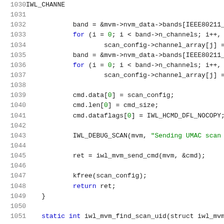[Figure (screenshot): Source code listing showing lines 1030-1051 of a C source file. The code shows channel configuration, scan_config setup, and a function call to iwl_mvm_send_cmd. Line numbers are shown in grey on the left, keywords in blue, string literals in green, and numeric literals in green.]